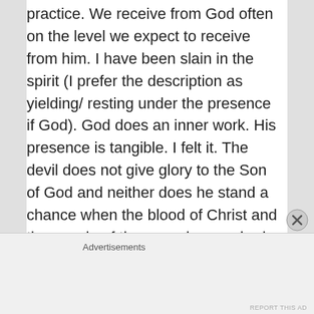practice. We receive from God often on the level we expect to receive from him. I have been slain in the spirit (I prefer the description as yielding/ resting under the presence if God). God does an inner work. His presence is tangible. I felt it. The devil does not give glory to the Son of God and neither does he stand a chance when the blood of Christ and the gosple of the cross is preached. The devil will use whatever he can to contradict, undermine and confuse. The fruit of the Spirit of God is clearly defined in
Advertisements